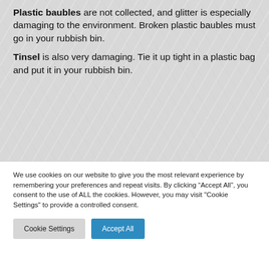Plastic baubles are not collected, and glitter is especially damaging to the environment. Broken plastic baubles must go in your rubbish bin.
Tinsel is also very damaging. Tie it up tight in a plastic bag and put it in your rubbish bin.
We use cookies on our website to give you the most relevant experience by remembering your preferences and repeat visits. By clicking “Accept All”, you consent to the use of ALL the cookies. However, you may visit "Cookie Settings" to provide a controlled consent.